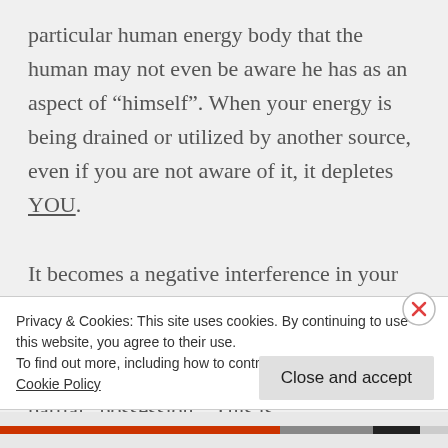particular human energy body that the human may not even be aware he has as an aspect of “himself”. When your energy is being drained or utilized by another source, even if you are not aware of it, it depletes YOU.

It becomes a negative interference in your energy body creating blockages such as illness or difficulties in manifestation. In accelerated cases it can result in a full or partial “possession”. This is
Privacy & Cookies: This site uses cookies. By continuing to use this website, you agree to their use.
To find out more, including how to control cookies, see here: Cookie Policy